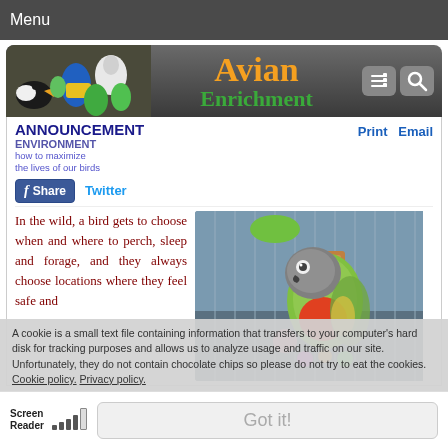Menu
Avian Enrichment
ANNOUNCEMENT ENVIRONMENT
Print  Email
Share  Twitter
In the wild, a bird gets to choose when and where to perch, sleep and forage, and they always choose locations where they feel safe and
[Figure (photo): Parrot (African Grey or similar) in a cage with toys]
A cookie is a small text file containing information that transfers to your computer's hard disk for tracking purposes and allows us to analyze usage and traffic on our site. Unfortunately, they do not contain chocolate chips so please do not try to eat the cookies. Cookie policy. Privacy policy.
Got it!